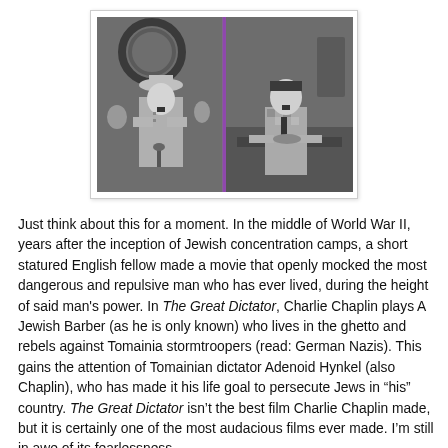[Figure (photo): Black and white split-image from The Great Dictator (1940): left side shows Chaplin as Adenoid Hynkel in military uniform at a microphone; right side shows Chaplin as the Jewish Barber eating at a table. A vertical purple line divides the two scenes.]
Just think about this for a moment. In the middle of World War II, years after the inception of Jewish concentration camps, a short statured English fellow made a movie that openly mocked the most dangerous and repulsive man who has ever lived, during the height of said man's power. In The Great Dictator, Charlie Chaplin plays A Jewish Barber (as he is only known) who lives in the ghetto and rebels against Tomainia stormtroopers (read: German Nazis). This gains the attention of Tomainian dictator Adenoid Hynkel (also Chaplin), who has made it his life goal to persecute Jews in "his" country. The Great Dictator isn't the best film Charlie Chaplin made, but it is certainly one of the most audacious films ever made. I'm still in awe of its fearlessness